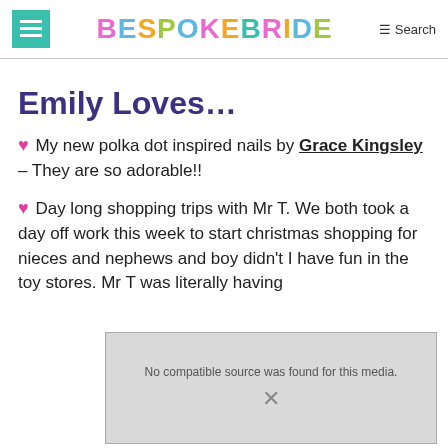BESPOKE BRIDE Search
Emily Loves…
♥ My new polka dot inspired nails by Grace Kingsley – They are so adorable!!
♥ Day long shopping trips with Mr T. We both took a day off work this week to start christmas shopping for nieces and nephews and boy didn't I have fun in the toy stores. Mr T was literally having
[Figure (screenshot): Video player overlay with 'No compatible source was found for this media.' error message and X close button]